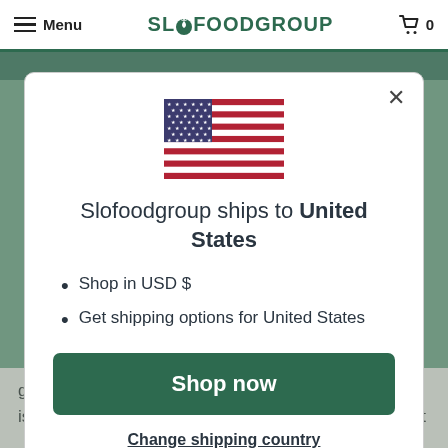Menu  SLOFOODGROUP  0
[Figure (illustration): US flag in a modal dialog]
Slofoodgroup ships to United States
Shop in USD $
Get shipping options for United States
Shop now
Change shipping country
grown in areas 10-20 degrees of the equator.  Uganda is perfectly positioned to capture vanilla glory, but theft